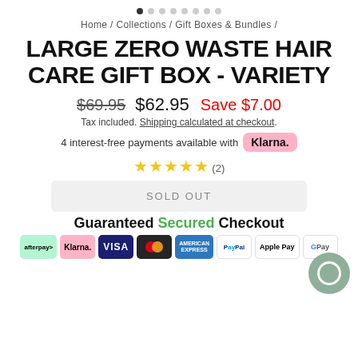[Figure (other): Carousel navigation dots, 8 dots with first active]
Home / Collections / Gift Boxes & Bundles /
LARGE ZERO WASTE HAIR CARE GIFT BOX - VARIETY
$69.95  $62.95  Save $7.00
Tax included. Shipping calculated at checkout.
4 interest-free payments available with Klarna.
★★★★★ (2)
SOLD OUT
Guaranteed Secured Checkout
[Figure (other): Payment method icons: afterpay, Klarna, VISA, Mastercard, American Express, PayPal, Apple Pay, Google Pay]